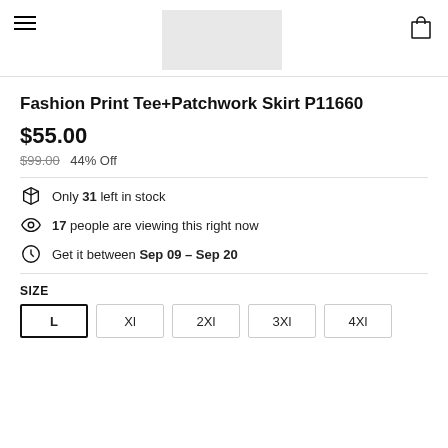Navigation menu and cart icon with product image placeholder
Fashion Print Tee+Patchwork Skirt P11660
$55.00
$99.00  44% Off
Only 31 left in stock
17 people are viewing this right now
Get it between Sep 09 - Sep 20
SIZE
L  Xl  2Xl  3Xl  4Xl